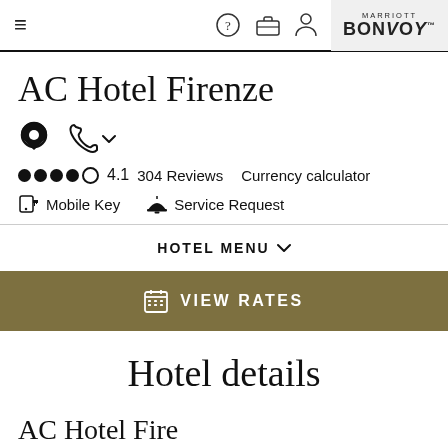≡  ?  🧳  🙍  MARRIOTT BONVOY
AC Hotel Firenze
📍  📞 ▾
●●●●○  4.1  304 Reviews  Currency calculator
🔑 Mobile Key  🔔 Service Request
HOTEL MENU ▾
VIEW RATES
Hotel details
AC Hotel Fire...